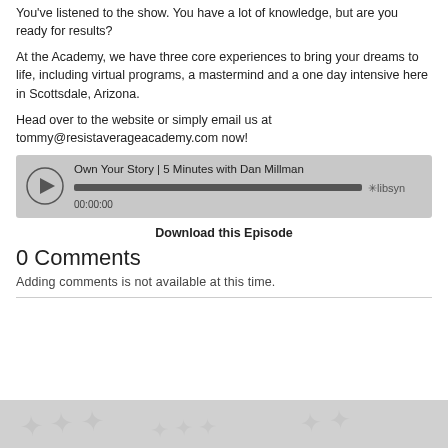You've listened to the show. You have a lot of knowledge, but are you ready for results?
At the Academy, we have three core experiences to bring your dreams to life, including virtual programs, a mastermind and a one day intensive here in Scottsdale, Arizona.
Head over to the website or simply email us at tommy@resistaverageacademy.com now!
[Figure (other): Podcast audio player widget showing 'Own Your Story | 5 Minutes with Dan Millman' with play button, progress bar showing 00:00:00, and Libsyn logo]
Download this Episode
0 Comments
Adding comments is not available at this time.
©Resist Average Academy LLC